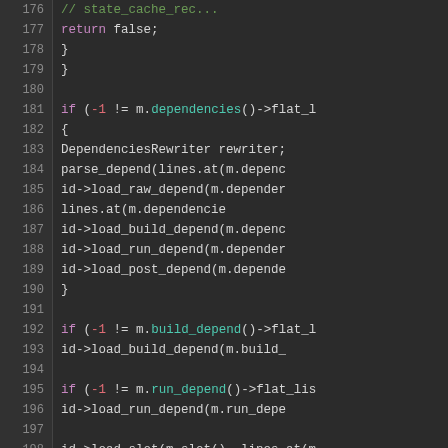[Figure (screenshot): Source code screenshot showing C++ code lines 176-203 in a dark IDE theme. Code contains if-statements checking m.dependencies(), m.build_depend(), m.run_depend(), m.src_uri(), m.restrictions(), and calls to load_raw_depend, load_build_depend, load_run_depend, load_post_depend, load_slot, load_src_uri methods.]